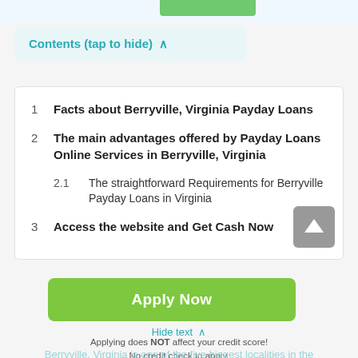Contents (tap to hide) ^
1  Facts about Berryville, Virginia Payday Loans
2  The main advantages offered by Payday Loans Online Services in Berryville, Virginia
2.1  The straightforward Requirements for Berryville Payday Loans in Virginia
3  Access the website and Get Cash Now
Apply Now
Hide text ^
Applying does NOT affect your credit score! No credit check to apply.
Berryville, Virginia is one of the five biggest localities in the